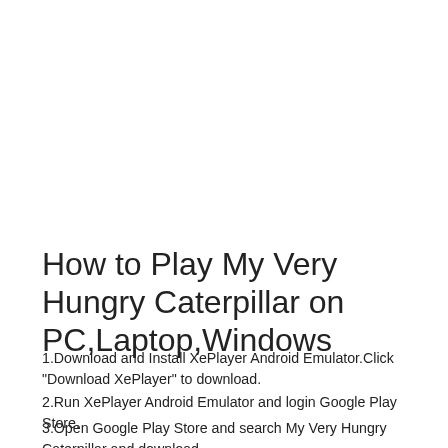How to Play My Very Hungry Caterpillar on PC,Laptop,Windows
1.Download and Install XePlayer Android Emulator.Click "Download XePlayer" to download.
2.Run XePlayer Android Emulator and login Google Play Store.
3.Open Google Play Store and search My Very Hungry Caterpillar and download.